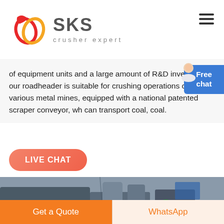[Figure (logo): SKS crusher expert logo with red double-ring emblem and grey SKS text, crusher expert tagline below]
of equipment units and a large amount of R&D investment, our roadheader is suitable for crushing operations of various metal mines, equipped with a national patented scraper conveyor, wh... can transport coal, coal.
LIVE CHAT
[Figure (photo): Industrial crushing machinery in a factory setting with red wheel components and equipment]
Get a Quote
WhatsApp